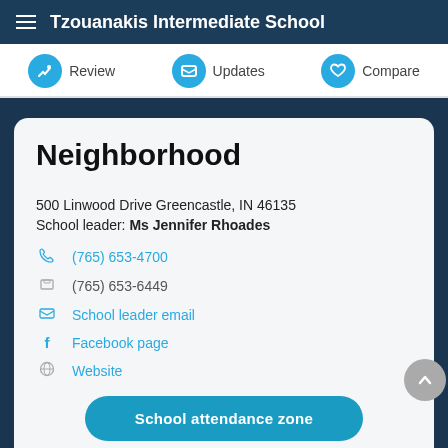Tzouanakis Intermediate School
Neighborhood
500 Linwood Drive Greencastle, IN 46135
School leader: Ms Jennifer Rhoades
(765) 653-4700
(765) 653-6449
School leader email
Facebook page
Website
School attendance zone